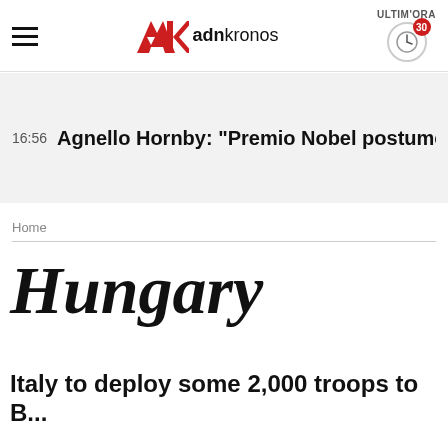adnkronos — ULTIM'ORA 30
16:56  Agnello Hornby: "Premio Nobel postumo a Camilleri"
Home
Hungary
Italy to deploy some 2,000 troops to B...